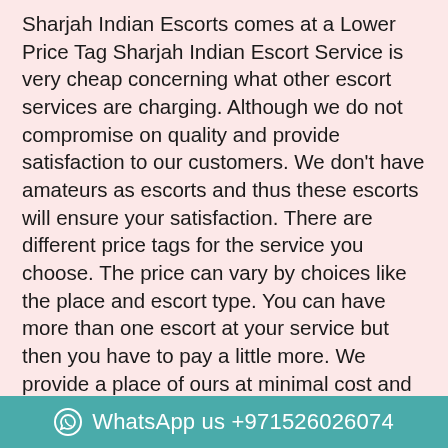Sharjah Indian Escorts comes at a Lower Price Tag Sharjah Indian Escort Service is very cheap concerning what other escort services are charging. Although we do not compromise on quality and provide satisfaction to our customers. We don't have amateurs as escorts and thus these escorts will ensure your satisfaction. There are different price tags for the service you choose. The price can vary by choices like the place and escort type. You can have more than one escort at your service but then you have to pay a little more. We provide a place of ours at minimal cost and guaranteed security.
You can go for your Sweetest Desires only with Sharjah Escorts Sharjah Escorts Girls will make sure that they can stand up to your expectations and thus they will not leave any tables unturned. When you are feeling bored and you don't have a... have to give a call to Sharjah Indian Escorts and we will
WhatsApp us +971526026074